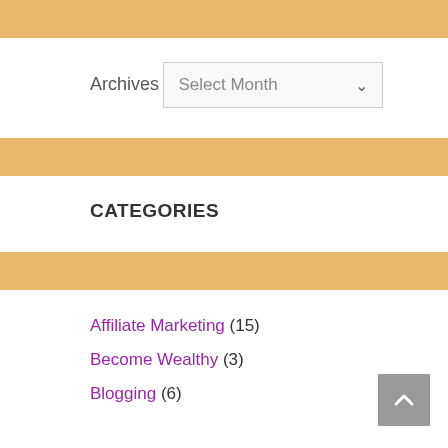Archives
Select Month
CATEGORIES
Affiliate Marketing (15)
Become Wealthy (3)
Blogging (6)